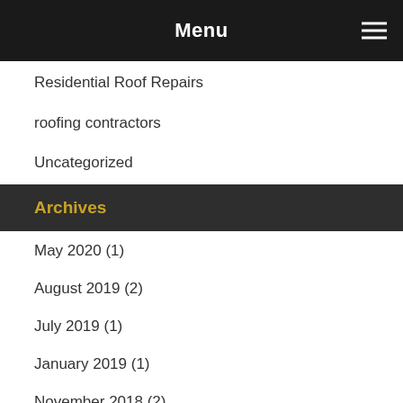Menu
Residential Roof Repairs
roofing contractors
Uncategorized
Archives
May 2020 (1)
August 2019 (2)
July 2019 (1)
January 2019 (1)
November 2018 (2)
October 2018 (1)
July 2018 (1)
February 2017 (2)
January 2017 (1)
November 2016 (2)
October 2016 (1)